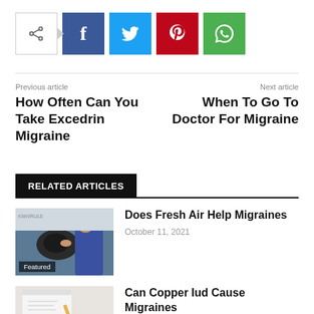[Figure (infographic): Social share buttons: share icon with arrow, Facebook (blue), Twitter (cyan), Pinterest (red), WhatsApp (green)]
Previous article
How Often Can You Take Excedrin Migraine
Next article
When To Go To Doctor For Migraine
RELATED ARTICLES
[Figure (photo): Photo of a person receiving a head massage or treatment, with Featured label overlay]
Does Fresh Air Help Migraines
October 11, 2021
[Figure (photo): Article thumbnail image for Can Copper Iud Cause Migraines]
Can Copper Iud Cause Migraines
August 1, 2021